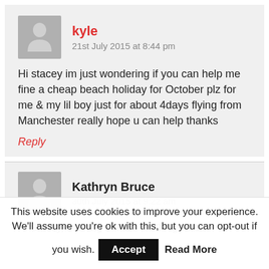kyle
21st July 2015 at 8:44 pm
Hi stacey im just wondering if you can help me fine a cheap beach holiday for October plz for me & my lil boy just for about 4days flying from Manchester really hope u can help thanks
Reply
Kathryn Bruce
30th July 2015 at 9:22 am
Hi Stacey, Looking at Ibiza for 2 nights 12th
This website uses cookies to improve your experience. We'll assume you're ok with this, but you can opt-out if you wish. Accept Read More